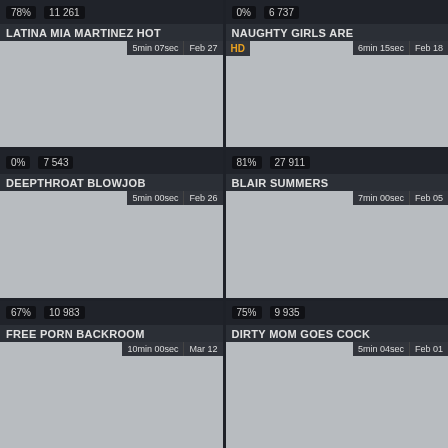[Figure (screenshot): Video thumbnail card: LATINA MIA MARTINEZ HOT, 78%, 11 261 views, 5min 07sec, Feb 27]
[Figure (screenshot): Video thumbnail card: NAUGHTY GIRLS ARE, 0%, 6 737 views, HD, 6min 15sec, Feb 18]
[Figure (screenshot): Video thumbnail card: DEEPTHROAT BLOWJOB, 0%, 7 543 views, 5min 00sec, Feb 26]
[Figure (screenshot): Video thumbnail card: BLAIR SUMMERS, 81%, 27 911 views, 7min 00sec, Feb 05]
[Figure (screenshot): Video thumbnail card: FREE PORN BACKROOM, 67%, 10 983 views, 10min 00sec, Mar 12]
[Figure (screenshot): Video thumbnail card: DIRTY MOM GOES COCK, 75%, 9 935 views, 5min 04sec, Feb 01]